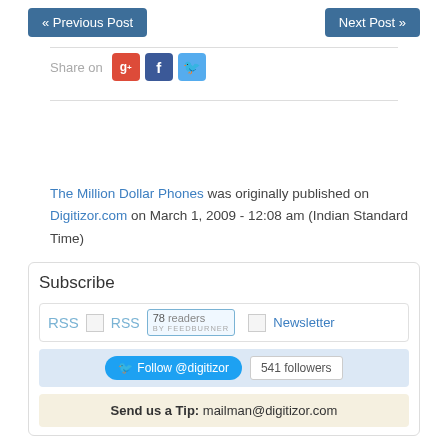« Previous Post   Next Post »
Share on [G+] [f] [Twitter bird]
The Million Dollar Phones was originally published on Digitizor.com on March 1, 2009 - 12:08 am (Indian Standard Time)
Subscribe
RSS [RSS icon] [78 readers BY FEEDBURNER] [Newsletter icon] Newsletter
Follow @digitizor   541 followers
Send us a Tip: mailman@digitizor.com